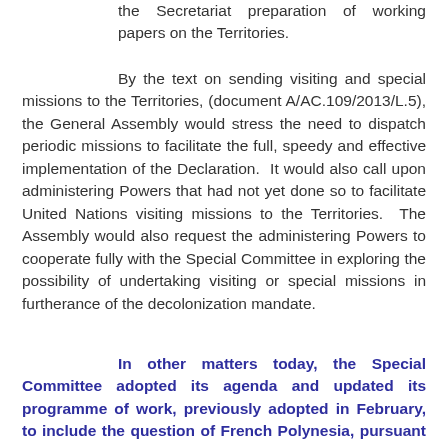the Secretariat preparation of working papers on the Territories.
By the text on sending visiting and special missions to the Territories, (document A/AC.109/2013/L.5), the General Assembly would stress the need to dispatch periodic missions to facilitate the full, speedy and effective implementation of the Declaration. It would also call upon administering Powers that had not yet done so to facilitate United Nations visiting missions to the Territories. The Assembly would also request the administering Powers to cooperate fully with the Special Committee in exploring the possibility of undertaking visiting or special missions in furtherance of the decolonization mandate.
In other matters today, the Special Committee adopted its agenda and updated its programme of work, previously adopted in February, to include the question of French Polynesia, pursuant to General Assembly